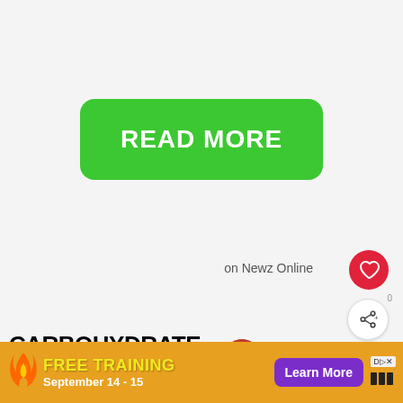[Figure (other): Green rounded rectangle button with white bold text READ MORE]
on Newz Online
[Figure (other): Red circular heart/like button icon]
[Figure (other): White circular share button icon with 0 badge]
CARBOHYDRATE INTAKE:
[Figure (other): WHAT'S NEXT arrow label with avatar image. Round 4: Nutrient...]
There is a misconception amongst many; that carbs
[Figure (other): Advertisement banner: FREE TRAINING September 14-15, Learn More button, flame logo]